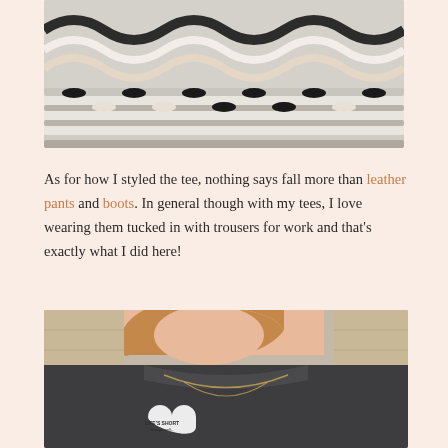[Figure (photo): Close-up of embroidery thread spools arranged in a display tray, showing black, white, and beige threads in a wavy pattern.]
As for how I styled the tee, nothing says fall more than leather pants and boots. In general though with my tees, I love wearing them tucked in with trousers for work and that's exactly what I did here!
[Figure (photo): Woman wearing a dark charcoal long-sleeve graphic tee with a heart graphic reading 'Life's Short' and a gold chain necklace, light brown hair, light wooden background.]